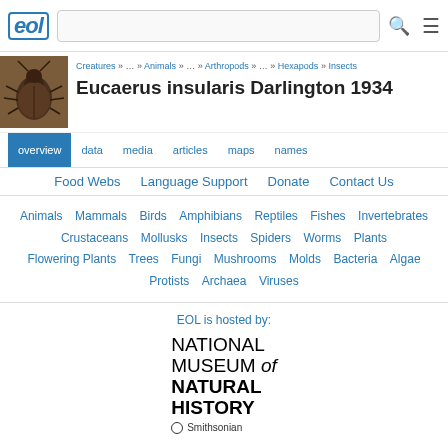EOL - Eucaerus insularis Darlington 1934
Creatures » … » Animals » … » Arthropods » … » Hexapods » Insects
Eucaerus insularis Darlington 1934
overview | data | media | articles | maps | names
Food Webs   Language Support   Donate   Contact Us
Animals  Mammals  Birds  Amphibians  Reptiles  Fishes  Invertebrates  Crustaceans  Mollusks  Insects  Spiders  Worms  Plants  Flowering Plants  Trees  Fungi  Mushrooms  Molds  Bacteria  Algae  Protists  Archaea  Viruses
EOL is hosted by:
[Figure (logo): National Museum of Natural History - Smithsonian logo]